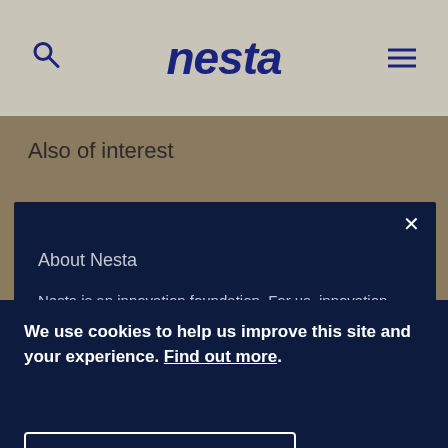nesta
Also of interest
[Figure (screenshot): Card showing 'About Nesta' with dark navy background and text: 'Nesta is an innovation foundation. For us, innovation' with a close X button]
We use cookies to help us improve this site and your experience. Find out more.
Accept recommended cookies
Set cookie preferences